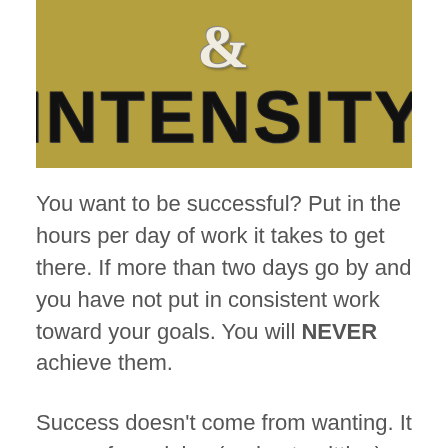[Figure (illustration): Olive/tan colored background banner showing a large ampersand symbol in cream/white distressed font above the word INTENSITY in large black distressed bold uppercase letters]
You want to be successful? Put in the hours per day of work it takes to get there. If more than two days go by and you have not put in consistent work toward your goals. You will NEVER achieve them.
Success doesn't come from wanting. It comes from doing (and not quitting).